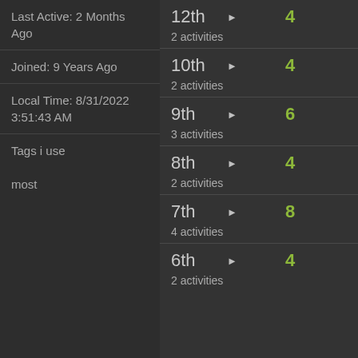Last Active: 2 Months Ago
Joined: 9 Years Ago
Local Time: 8/31/2022 3:51:43 AM
Tags i use most
12th ▶ 4 — 2 activities
10th ▶ 4 — 2 activities
9th ▶ 6 — 3 activities
8th ▶ 4 — 2 activities
7th ▶ 8 — 4 activities
6th ▶ 4 — 2 activities